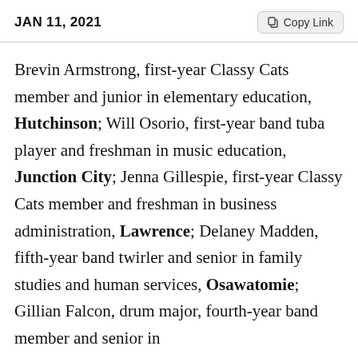JAN 11, 2021
Brevin Armstrong, first-year Classy Cats member and junior in elementary education, Hutchinson; Will Osorio, first-year band tuba player and freshman in music education, Junction City; Jenna Gillespie, first-year Classy Cats member and freshman in business administration, Lawrence; Delaney Madden, fifth-year band twirler and senior in family studies and human services, Osawatomie; Gillian Falcon, drum major, fourth-year band member and senior in